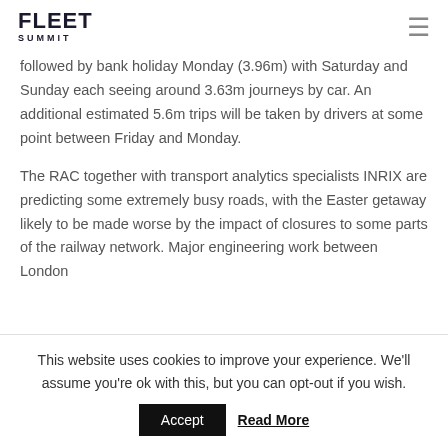FLEET SUMMIT
followed by bank holiday Monday (3.96m) with Saturday and Sunday each seeing around 3.63m journeys by car. An additional estimated 5.6m trips will be taken by drivers at some point between Friday and Monday.
The RAC together with transport analytics specialists INRIX are predicting some extremely busy roads, with the Easter getaway likely to be made worse by the impact of closures to some parts of the railway network. Major engineering work between London
This website uses cookies to improve your experience. We'll assume you're ok with this, but you can opt-out if you wish.
Accept  Read More